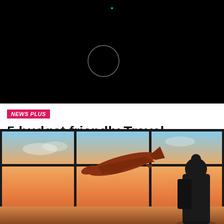[Figure (screenshot): Black phone top area with camera cutout circle and status bar wifi icon]
NEWS PLUS
5 budget friendly Travel destinations in India
Published 5 days ago on August 21, 2022
By Simran Singh
[Figure (photo): Airport scene silhouette of traveller with backpack watching plane take off through large windows at sunset]